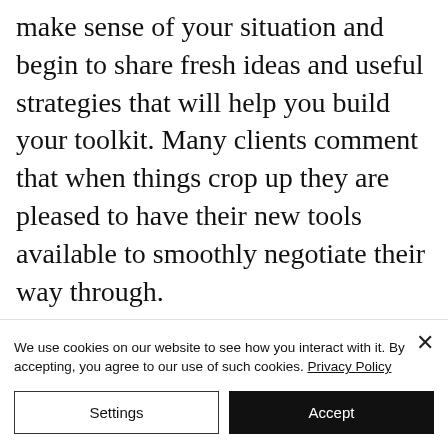make sense of your situation and begin to share fresh ideas and useful strategies that will help you build your toolkit. Many clients comment that when things crop up they are pleased to have their new tools available to smoothly negotiate their way through.
Subsequent sessions then involve
We use cookies on our website to see how you interact with it. By accepting, you agree to our use of such cookies. Privacy Policy